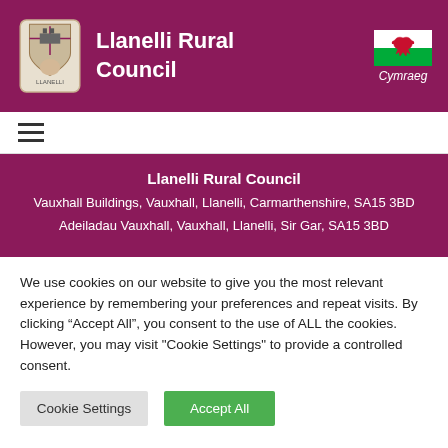Llanelli Rural Council
[Figure (logo): Llanelli Rural Council coat of arms logo and Welsh dragon flag with Cymraeg text]
Llanelli Rural Council
Vauxhall Buildings, Vauxhall, Llanelli, Carmarthenshire, SA15 3BD
Adeiladau Vauxhall, Vauxhall, Llanelli, Sir Gar, SA15 3BD
We use cookies on our website to give you the most relevant experience by remembering your preferences and repeat visits. By clicking “Accept All”, you consent to the use of ALL the cookies. However, you may visit "Cookie Settings" to provide a controlled consent.